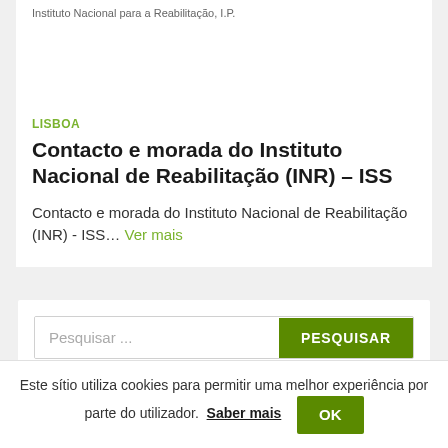Instituto Nacional para a Reabilitação, I.P.
LISBOA
Contacto e morada do Instituto Nacional de Reabilitação (INR) – ISS
Contacto e morada do Instituto Nacional de Reabilitação (INR) - ISS... Ver mais
Pesquisar ...
PESQUISAR
Este sítio utiliza cookies para permitir uma melhor experiência por parte do utilizador. Saber mais OK